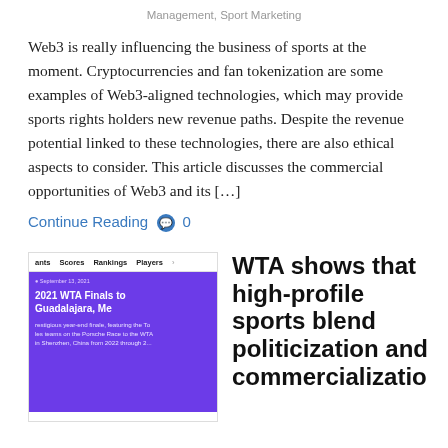Management, Sport Marketing
Web3 is really influencing the business of sports at the moment. Cryptocurrencies and fan tokenization are some examples of Web3-aligned technologies, which may provide sports rights holders new revenue paths. Despite the revenue potential linked to these technologies, there are also ethical aspects to consider. This article discusses the commercial opportunities of Web3 and its […]
Continue Reading  0
[Figure (screenshot): Screenshot of a WTA website page showing a navigation bar with 'ants', 'Scores', 'Rankings', 'Players' tabs, and a purple banner with text '2021 WTA Finals to Guadalajara, Me' and a date of September 13, 2021, with body text about a prestigious year-end finale featuring top players on the Porsche Race to the WTA in Shenzhen, China from 2022 through 2...]
WTA shows that high-profile sports blend politicization and commercializatio